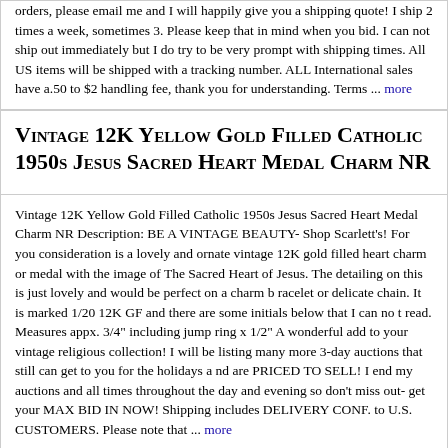orders, please email me and I will happily give you a shipping quote! I ship 2 times a week, sometimes 3. Please keep that in mind when you bid. I can not ship out immediately but I do try to be very prompt with shipping times. All US items will be shipped with a tracking number. ALL International sales have a.50 to $2 handling fee, thank you for understanding. Terms ... more
Vintage 12K Yellow Gold Filled Catholic 1950s Jesus Sacred Heart Medal Charm NR
Vintage 12K Yellow Gold Filled Catholic 1950s Jesus Sacred Heart Medal Charm NR Description: BE A VINTAGE BEAUTY- Shop Scarlett's! For you consideration is a lovely and ornate vintage 12K gold filled heart charm or medal with the image of The Sacred Heart of Jesus. The detailing on this is just lovely and would be perfect on a charm b racelet or delicate chain. It is marked 1/20 12K GF and there are some initials below that I can no t read. Measures appx. 3/4" including jump ring x 1/2" A wonderful add to your vintage religious collection! I will be listing many more 3-day auctions that still can get to you for the holidays a nd are PRICED TO SELL! I end my auctions and all times throughout the day and evening so don't miss out- get your MAX BID IN NOW! Shipping includes DELIVERY CONF. to U.S. CUSTOMERS. Please note that ... more
Holy Mother of Fatima Medal Pendant Charm
You're bidding for the ★★ Holy Mother of Fatima Medal Pendant Charm ★★ the one seen on photo. All countries. You must pay with PAYPAL. The item will be sent by priority registered mail with signature confirmation and it is (30h) and is 12,00 USD for a guarantee of ...